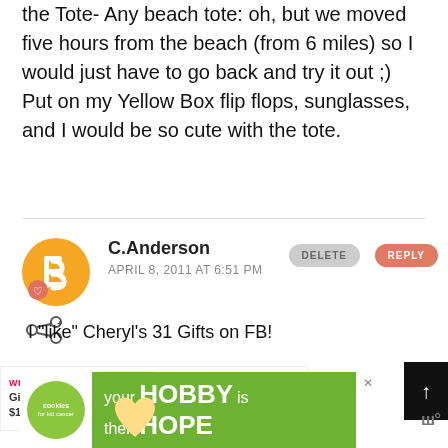the Tote- Any beach tote: oh, but we moved five hours from the beach (from 6 miles) so I would just have to go back and try it out ;) Put on my Yellow Box flip flops, sunglasses, and I would be so cute with the tote.
C.Anderson
APRIL 8, 2011 AT 6:51 PM
I "like" Cheryl's 31 Gifts on FB!
[Figure (screenshot): What's next promo: Giveaway | $100 Gift Ca...]
[Figure (screenshot): Cookies for Kid Cancer ad banner: your HOBBY is their HOPE]